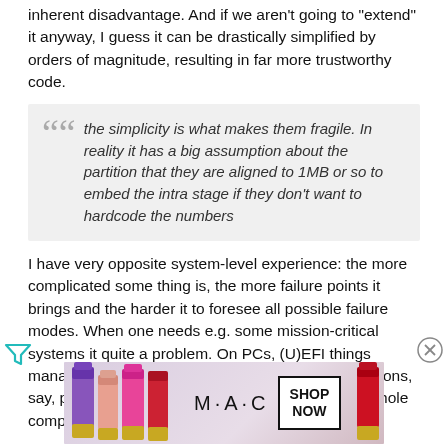inherent disadvantage. And if we aren't going to "extend" it anyway, I guess it can be drastically simplified by orders of magnitude, resulting in far more trustworthy code.
the simplicity is what makes them fragile. In reality it has a big assumption about the partition that they are aligned to 1MB or so to embed the intra stage if they don't want to hardcode the numbers
I have very opposite system-level experience: the more complicated some thing is, the more failure points it brings and the harder it to foresee all possible failure modes. When one needs e.g. some mission-critical systems it quite a problem. On PCs, (U)EFI things manage to fail boot sequence for pretty arcane reasons, say, press key on keyboard at "wrong" time - and whole computer hangs, refusing to boot at all.
[Figure (other): MAC cosmetics advertisement banner showing lipsticks with SHOP NOW button]